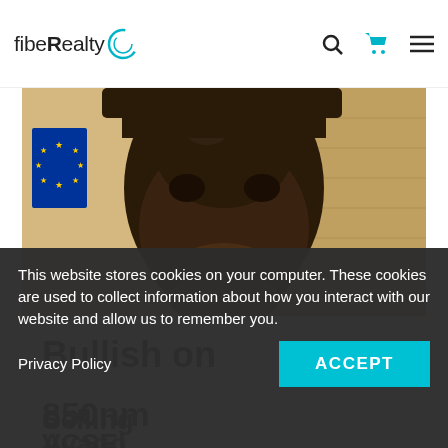fibeRealty
[Figure (photo): Close-up photo of a bronze bull statue with European Union flag visible in background]
Bullish on
850nm VCSELs: Avago Selling VCSEL
This website stores cookies on your computer. These cookies are used to collect information about how you interact with our website and allow us to remember you.
Privacy Policy
ACCEPT